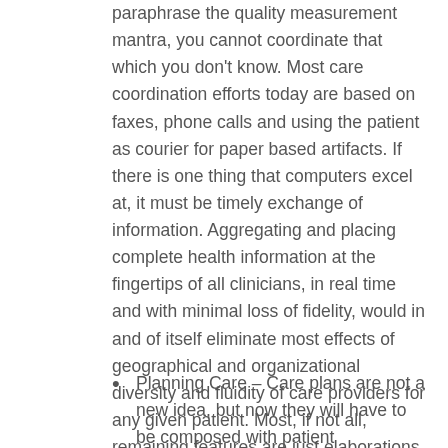paraphrase the quality measurement mantra, you cannot coordinate that which you don't know. Most care coordination efforts today are based on faxes, phone calls and using the patient as courier for paper based artifacts. If there is one thing that computers excel at, it must be timely exchange of information. Aggregating and placing complete health information at the fingertips of all clinicians, in real time and with minimal loss of fidelity, would in and of itself eliminate most effects of geographical and organizational diversity and fluidity of care providers for any given patient. Most, if not all, remaining features are just elaborations on the information that needs to be exchanged, the actions to be taken following the exchange and the tracking of both the actual exchange and the activities surrounding such exchange.
Planning Care – Care plans are not a new idea, but now they will have to be composed with patient participation, and shared between